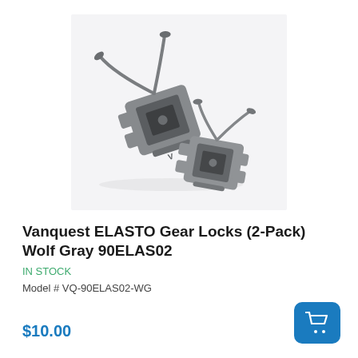[Figure (photo): Two Vanquest ELASTO Gear Locks in Wolf Gray color, shown from above at an angle. The two lock mechanisms have elastic cord and clip hardware, displayed on a light gray background.]
Vanquest ELASTO Gear Locks (2-Pack) Wolf Gray 90ELAS02
IN STOCK
Model # VQ-90ELAS02-WG
$10.00